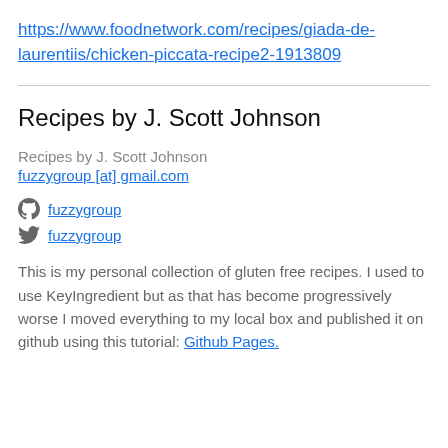https://www.foodnetwork.com/recipes/giada-de-laurentiis/chicken-piccata-recipe2-1913809
Recipes by J. Scott Johnson
Recipes by J. Scott Johnson
fuzzygroup [at] gmail.com
fuzzygroup
fuzzygroup
This is my personal collection of gluten free recipes. I used to use KeyIngredient but as that has become progressively worse I moved everything to my local box and published it on github using this tutorial: Github Pages.